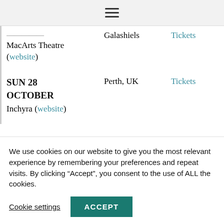Navigation menu (hamburger icon)
| Date / Venue | Location |  |
| --- | --- | --- |
| [partial date] MacArts Theatre (website) | Galashiels | Tickets |
| SUN 28 OCTOBER Inchyra (website) | Perth, UK | Tickets |
| THU 01 NOVEMBER | Arnhem, Netherlands | Tickets |
We use cookies on our website to give you the most relevant experience by remembering your preferences and repeat visits. By clicking “Accept”, you consent to the use of ALL the cookies.
Cookie settings  ACCEPT